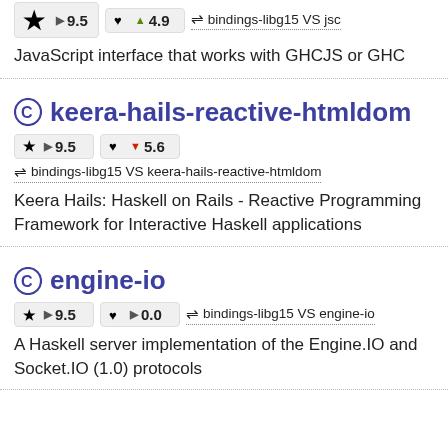★ ▶ 9.5   ♥ ▲ 4.9   ⇌ bindings-libg15 VS jsc
JavaScript interface that works with GHCJS or GHC
keera-hails-reactive-htmldom
★ ▶ 9.5   ♥ ▼ 5.6
⇌ bindings-libg15 VS keera-hails-reactive-htmldom
Keera Hails: Haskell on Rails - Reactive Programming Framework for Interactive Haskell applications
engine-io
★ ▶ 9.5   ♥ ▶ 0.0   ⇌ bindings-libg15 VS engine-io
A Haskell server implementation of the Engine.IO and Socket.IO (1.0) protocols